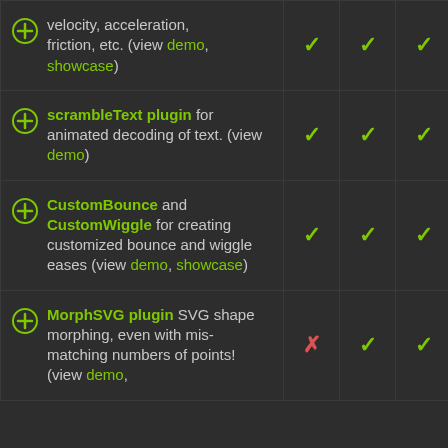| Feature | Col1 | Col2 | Col3 |
| --- | --- | --- | --- |
| velocity, acceleration, friction, etc. (view demo, showcase) | ✓ | ✓ | ✓ |
| scrambleText plugin for animated decoding of text. (view demo) | ✓ | ✓ | ✓ |
| CustomBounce and CustomWiggle for creating customized bounce and wiggle eases (view demo, showcase) | ✓ | ✓ | ✓ |
| MorphSVG plugin SVG shape morphing, even with mis-matching numbers of points! (view demo, | ✗ | ✓ | ✓ |